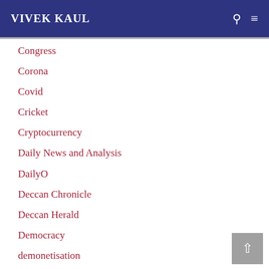VIVEK KAUL
Congress
Corona
Covid
Cricket
Cryptocurrency
Daily News and Analysis
DailyO
Deccan Chronicle
Deccan Herald
Democracy
demonetisation
Dhoni